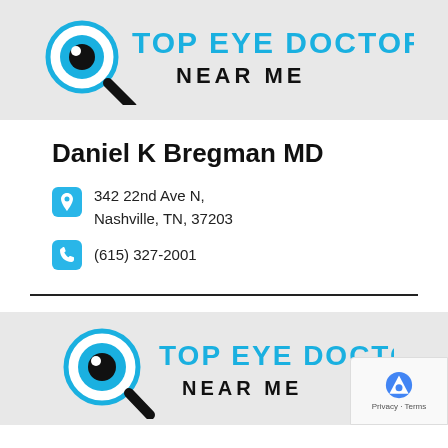[Figure (logo): Top Eye Doctors Near Me logo with magnifying glass eye icon — top banner, gray background]
Daniel K Bregman MD
342 22nd Ave N, Nashville, TN, 37203
(615) 327-2001
[Figure (logo): Top Eye Doctors Near Me logo with magnifying glass eye icon — bottom banner, gray background, with reCAPTCHA badge overlay]